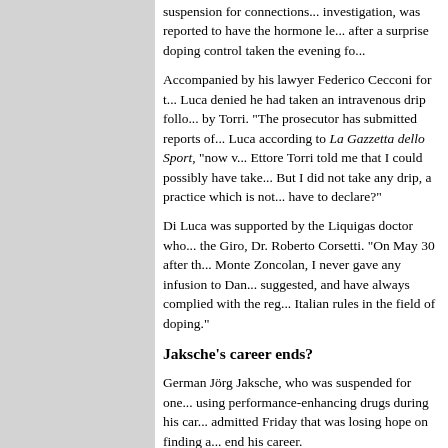suspension for connections... investigation, was reported to have the hormone le... after a surprise doping control taken the evening fo...
Accompanied by his lawyer Federico Cecconi for t... Luca denied he had taken an intravenous drip follo... by Torri. "The prosecutor has submitted reports of... Luca according to La Gazzetta dello Sport, "now v... Ettore Torri told me that I could possibly have take... But I did not take any drip, a practice which is not... have to declare?"
Di Luca was supported by the Liquigas doctor who... the Giro, Dr. Roberto Corsetti. "On May 30 after th... Monte Zoncolan, I never gave any infusion to Dan... suggested, and have always complied with the reg... Italian rules in the field of doping."
Jaksche's career ends?
German Jörg Jaksche, who was suspended for one... using performance-enhancing drugs during his car... admitted Friday that was losing hope on finding a... end his career.
"I do not bet a lot of money on the fact that I can r... Jaksche according to sid. Jaksche, who has been a... a year of tell-all in the German press, thought his c... different outcome in light of the new movement to...